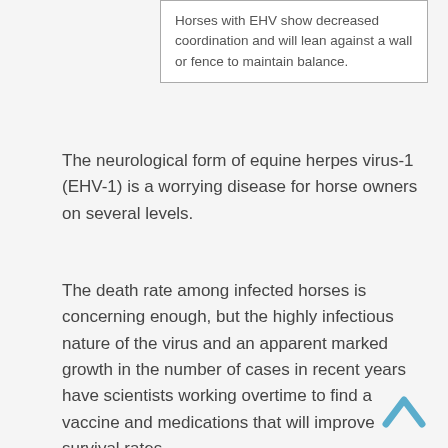Horses with EHV show decreased coordination and will lean against a wall or fence to maintain balance.
The neurological form of equine herpes virus-1 (EHV-1) is a worrying disease for horse owners on several levels.
The death rate among infected horses is concerning enough, but the highly infectious nature of the virus and an apparent marked growth in the number of cases in recent years have scientists working overtime to find a vaccine and medications that will improve survival rates.
[Figure (other): A chevron/caret up arrow icon in blue, used as a back-to-top navigation button, positioned at bottom-right of the page.]